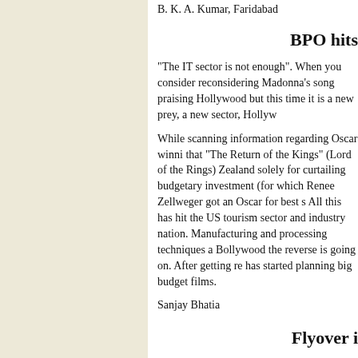B. K. A. Kumar, Faridabad
BPO hits
“The IT sector is not enough”. When you consider reconsidering Madonna’s song praising Hollywood but this time it is a new prey, a new sector, Hollyw...
While scanning information regarding Oscar winni... that “The Return of the Kings” (Lord of the Rings)... Zealand solely for curtailing budgetary investment... (for which Renee Zellweger got an Oscar for best s... All this has hit the US tourism sector and industry... nation. Manufacturing and processing techniques a... Bollywood the reverse is going on. After getting re... has started planning big budget films.
Sanjay Bhatia
Flyover i
So many new flyovers and underbridges are being named after eminent personalities. Prominent road emerging in the art and culture circles of the Capit... or road in Delhi as Kundan Lal Saigal flyover/road...
K. L. Saigal, the legendary singer actor, was born i... few months in in the early 130s. Saigal acted in 36...